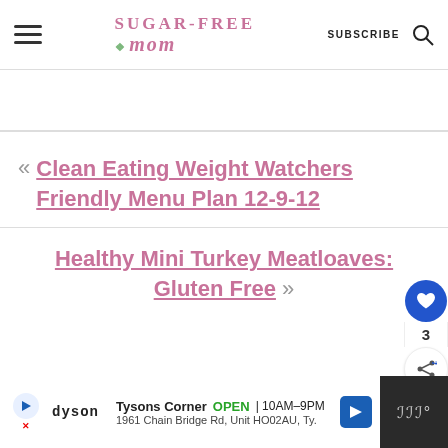Sugar-Free Mom — SUBSCRIBE
« Clean Eating Weight Watchers Friendly Menu Plan 12-9-12
Healthy Mini Turkey Meatloaves: Gluten Free »
[Figure (other): Ad footer: Dyson — Tysons Corner OPEN 10AM–9PM, 1961 Chain Bridge Rd, Unit HO02AU, Ty.]